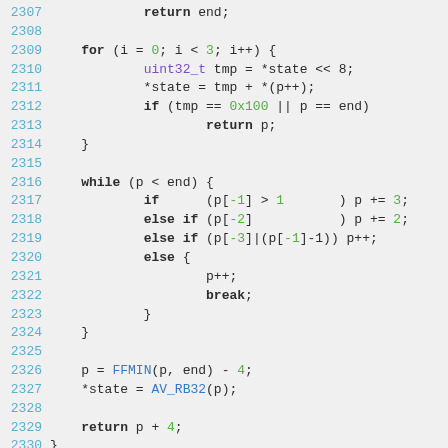[Figure (screenshot): Source code listing showing lines 2307-2330 of a C function. The code includes a return statement, a for loop iterating 3 times with bit-shift operations on state, a while loop with conditional p increments, and final FFMIN/AV_RB32 calls before returning p+4. Line numbers are in cyan, keywords in default color, special values/identifiers highlighted in green, purple, or blue.]